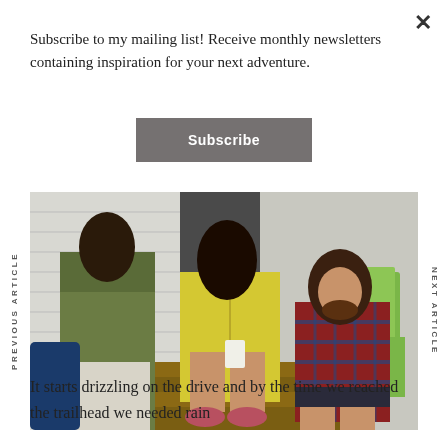Subscribe to my mailing list! Receive monthly newsletters containing inspiration for your next adventure.
Subscribe
[Figure (photo): Three people sitting on wooden steps outside a building. A woman in an olive green jacket on the left, a woman in a yellow puffer jacket holding a coffee cup in the middle, and a man in a red plaid shirt on the right. A green Adirondack chair is visible in the background.]
PREVIOUS ARTICLE
NEXT ARTICLE
It starts drizzling on the drive and by the time we reached the trailhead we needed rain